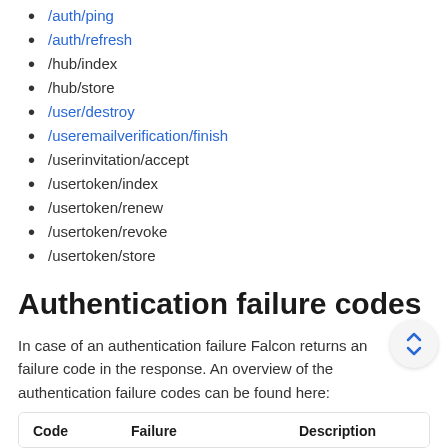/auth/ping
/auth/refresh
/hub/index
/hub/store
/user/destroy
/useremailverification/finish
/userinvitation/accept
/usertoken/index
/usertoken/renew
/usertoken/revoke
/usertoken/store
Authentication failure codes
In case of an authentication failure Falcon returns an failure code in the response. An overview of the authentication failure codes can be found here:
| Code | Failure | Description |
| --- | --- | --- |